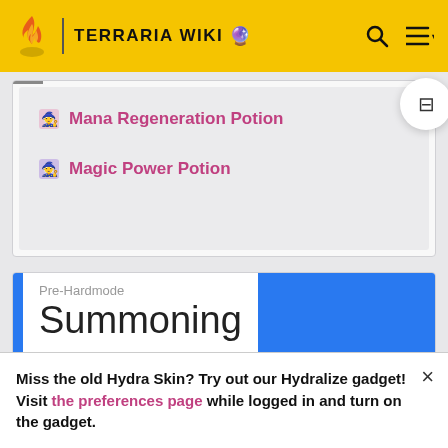TERRARIA WIKI
Mana Regeneration Potion
Magic Power Potion
Pre-Hardmode Summoning
Weapons
Miss the old Hydra Skin? Try out our Hydralize gadget! Visit the preferences page while logged in and turn on the gadget.